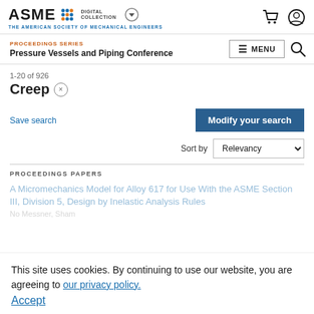ASME DIGITAL COLLECTION — THE AMERICAN SOCIETY OF MECHANICAL ENGINEERS
PROCEEDINGS SERIES — Pressure Vessels and Piping Conference
1-20 of 926
Creep ×
Save search
Modify your search
Sort by Relevancy
PROCEEDINGS PAPERS
This site uses cookies. By continuing to use our website, you are agreeing to our privacy policy.
Accept